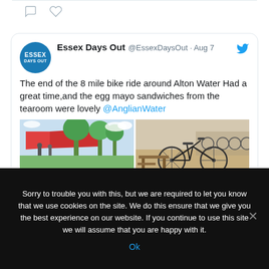[Figure (screenshot): Twitter/X social media icons: comment bubble and heart icon]
[Figure (screenshot): Essex Days Out tweet by @EssexDaysOut dated Aug 7, with avatar, Twitter bird icon, text about 8 mile bike ride around Alton Water, mention of @AnglianWater, and two attached photos showing outdoor scene and bicycles]
Sorry to trouble you with this, but we are required to let you know that we use cookies on the site. We do this ensure that we give you the best experience on our website. If you continue to use this site we will assume that you are happy with it.
Ok